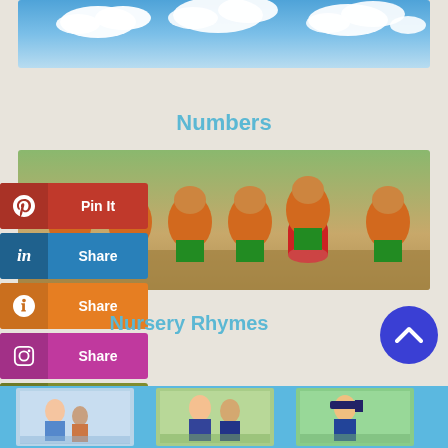[Figure (photo): Blue sky with white clouds, banner photo at top of page]
Numbers
[Figure (photo): Six toy bear figurines dressed in Bavarian/folk costumes playing musical instruments, arranged in a row on a surface outdoors]
Pin It
Share (LinkedIn)
Share (Blogger)
Share (Instagram)
Goodreads
Nursery Rhymes
[Figure (photo): Bottom strip showing three photos of people outdoors, partially visible]